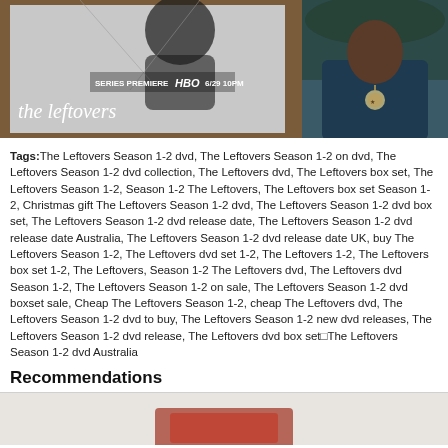[Figure (photo): Left photo: HBO series premiere poster for 'The Leftovers' showing a black and white image of a person with text 'SERIES PREMIERE HBO 6/29 10PM' and 'the leftovers' in large white letters at the bottom. The poster is on a wooden surface.]
[Figure (photo): Right photo: Close-up of a person wearing a dark teal/navy jacket with a badge/necklace visible.]
Tags:The Leftovers Season 1-2 dvd, The Leftovers Season 1-2 on dvd, The Leftovers Season 1-2 dvd collection, The Leftovers dvd, The Leftovers box set, The Leftovers Season 1-2, Season 1-2 The Leftovers, The Leftovers box set Season 1-2, Christmas gift The Leftovers Season 1-2 dvd, The Leftovers Season 1-2 dvd box set, The Leftovers Season 1-2 dvd release date, The Leftovers Season 1-2 dvd release date Australia, The Leftovers Season 1-2 dvd release date UK, buy The Leftovers Season 1-2, The Leftovers dvd set 1-2, The Leftovers 1-2, The Leftovers box set 1-2, The Leftovers, Season 1-2 The Leftovers dvd, The Leftovers dvd Season 1-2, The Leftovers Season 1-2 on sale, The Leftovers Season 1-2 dvd boxset sale, Cheap The Leftovers Season 1-2, cheap The Leftovers dvd, The Leftovers Season 1-2 dvd to buy, The Leftovers Season 1-2 new dvd releases, The Leftovers Season 1-2 dvd release, The Leftovers dvd box set□The Leftovers Season 1-2 dvd Australia
Recommendations
[Figure (photo): Bottom partial image: appears to be a product image partially visible at the bottom of the page.]